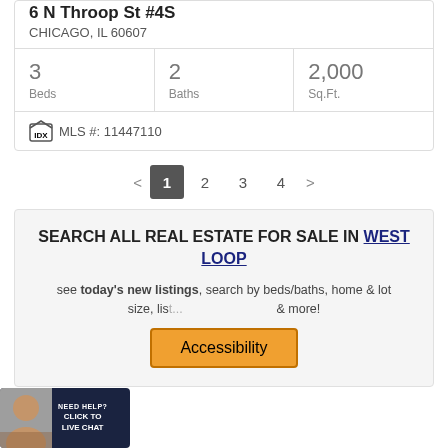6 N Throop St #4S
CHICAGO, IL 60607
| Beds | Baths | Sq.Ft. |
| --- | --- | --- |
| 3 | 2 | 2,000 |
MLS #: 11447110
< 1 2 3 4 >
SEARCH ALL REAL ESTATE FOR SALE IN WEST LOOP
see today's new listings, search by beds/baths, home & lot size, list... & more!
[Figure (other): Accessibility button overlay]
[Figure (other): Live chat widget with agent photo and NEED HELP? CLICK TO LIVE CHAT text]